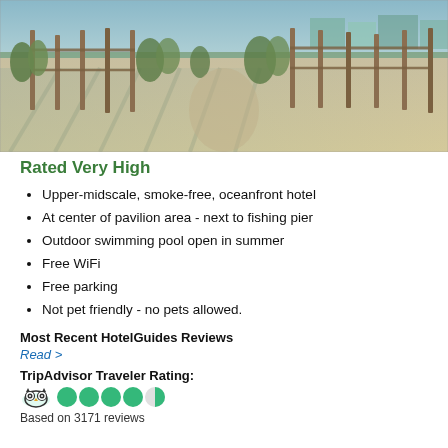[Figure (photo): Beach scene with sand dunes, wooden fence posts, and green sea grass. A sandy path leads toward the ocean. Buildings visible in the background.]
Rated Very High
Upper-midscale, smoke-free, oceanfront hotel
At center of pavilion area - next to fishing pier
Outdoor swimming pool open in summer
Free WiFi
Free parking
Not pet friendly - no pets allowed.
Most Recent HotelGuides Reviews
Read >
TripAdvisor Traveler Rating:
[Figure (infographic): TripAdvisor owl logo icon followed by 4 green filled circles and 1 half-filled green circle indicating a rating of approximately 4.5 out of 5.]
Based on 3171 reviews